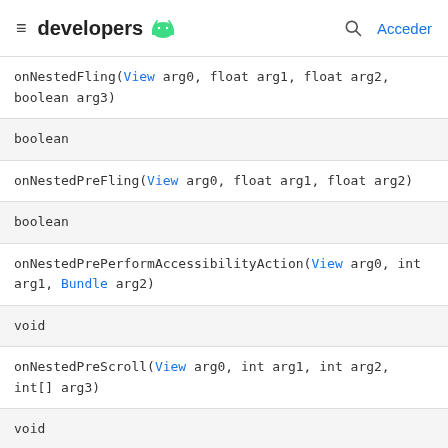developers | Acceder
| onNestedFling(View arg0, float arg1, float arg2, boolean arg3) |
| boolean |
| onNestedPreFling(View arg0, float arg1, float arg2) |
| boolean |
| onNestedPrePerformAccessibilityAction(View arg0, int arg1, Bundle arg2) |
| void |
| onNestedPreScroll(View arg0, int arg1, int arg2, int[] arg3) |
| void |
| onNestedScroll(View arg0, int arg1, int arg2, int arg3, int arg4) |
| void |